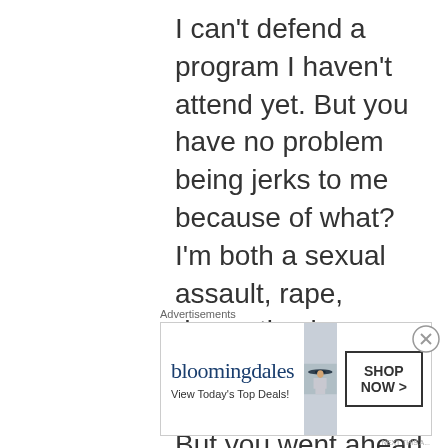I can't defend a program I haven't attend yet. But you have no problem being jerks to me because of what? I'm both a sexual assault, rape, domestic abuse survivor. You decried Albie's treatment. But you went ahead and personally attacked me. Pot meet kettles
Advertisements
[Figure (other): Bloomingdale's advertisement banner with logo, tagline 'View Today's Top Deals!', a woman in a wide-brim hat, and a 'SHOP NOW >' button]